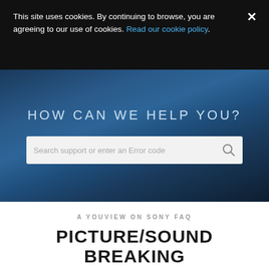This site uses cookies. By continuing to browse, you are agreeing to our use of cookies. Read our cookie policy.
[Figure (screenshot): Hero section with dark blue gradient background containing the heading HOW CAN WE HELP YOU? and a search bar with placeholder text Search support or enter an Error code]
A YOUVIEW ON SONY FAQ
PICTURE/SOUND BREAKING